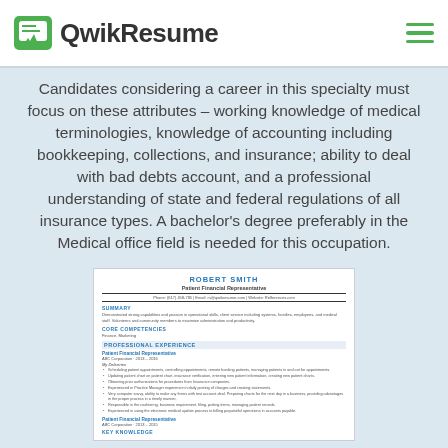QwikResume
Candidates considering a career in this specialty must focus on these attributes – working knowledge of medical terminologies, knowledge of accounting including bookkeeping, collections, and insurance; ability to deal with bad debts account, and a professional understanding of state and federal regulations of all insurance types. A bachelor's degree preferably in the Medical office field is needed for this occupation.
[Figure (screenshot): A resume screenshot for Robert Smith, Patient Financial Representative, showing sections for Summary, Core Competencies, Professional Experience with bullet points, and a second position entry.]